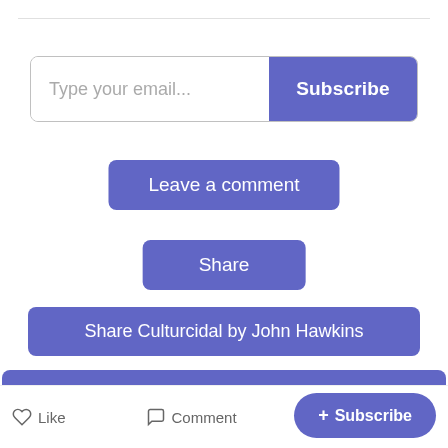[Figure (screenshot): Email subscription input field with 'Type your email...' placeholder and 'Subscribe' button in purple/blue]
Leave a comment
Share
Share Culturcidal by John Hawkins
101 Things All Young Adults Should Know
Like  Comment  + Subscribe  Share